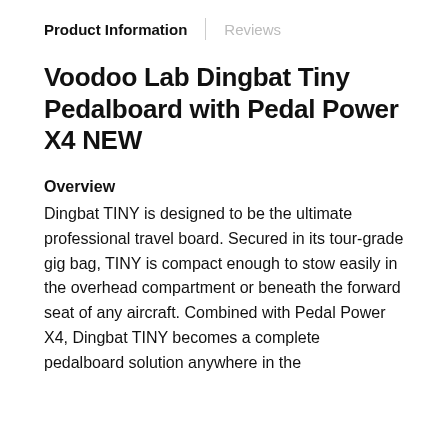Product Information | Reviews
Voodoo Lab Dingbat Tiny Pedalboard with Pedal Power X4 NEW
Overview
Dingbat TINY is designed to be the ultimate professional travel board. Secured in its tour-grade gig bag, TINY is compact enough to stow easily in the overhead compartment or beneath the forward seat of any aircraft. Combined with Pedal Power X4, Dingbat TINY becomes a complete pedalboard solution anywhere in the world.